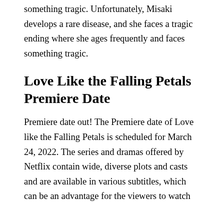something tragic. Unfortunately, Misaki develops a rare disease, and she faces a tragic ending where she ages frequently and faces something tragic.
Love Like the Falling Petals Premiere Date
Premiere date out! The Premiere date of Love like the Falling Petals is scheduled for March 24, 2022. The series and dramas offered by Netflix contain wide, diverse plots and casts and are available in various subtitles, which can be an advantage for the viewers to watch